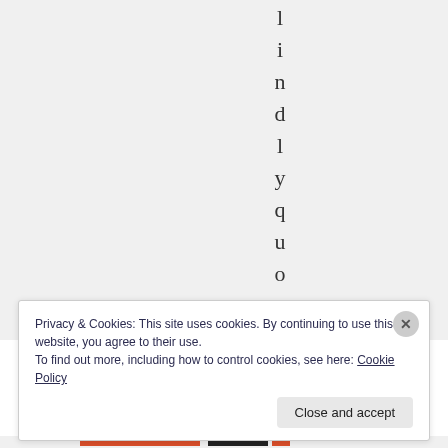[Figure (screenshot): Vertical text spelling 'lindlyquote' one letter per line on grey background]
Privacy & Cookies: This site uses cookies. By continuing to use this website, you agree to their use.
To find out more, including how to control cookies, see here: Cookie Policy
Close and accept